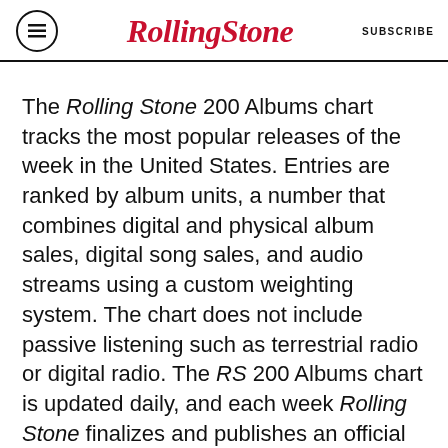Rolling Stone | SUBSCRIBE
The Rolling Stone 200 Albums chart tracks the most popular releases of the week in the United States. Entries are ranked by album units, a number that combines digital and physical album sales, digital song sales, and audio streams using a custom weighting system. The chart does not include passive listening such as terrestrial radio or digital radio. The RS 200 Albums chart is updated daily, and each week Rolling Stone finalizes and publishes an official version of the chart, covering the seven-day period ending with the previous Thursday.